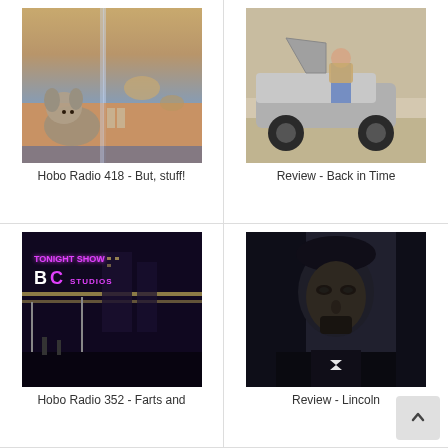[Figure (photo): Photo of dogs in what appears to be a dog daycare or pet store, with a small dog looking at the camera in foreground]
Hobo Radio 418 - But, stuff!
[Figure (photo): Photo of a man sitting in a DeLorean sports car with gull-wing door open, parked in what looks like a studio or warehouse]
Review - Back in Time
[Figure (photo): Night photo of NBC Studios exterior with neon signs reading TONIGHT SHOW and BC STUDIOS]
Hobo Radio 352 - Farts and
[Figure (photo): Dark portrait photo of actor playing Abraham Lincoln in period costume]
Review - Lincoln